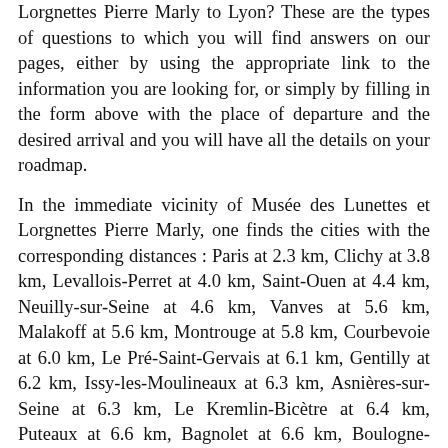Lorgnettes Pierre Marly to Lyon? These are the types of questions to which you will find answers on our pages, either by using the appropriate link to the information you are looking for, or simply by filling in the form above with the place of departure and the desired arrival and you will have all the details on your roadmap.
In the immediate vicinity of Musée des Lunettes et Lorgnettes Pierre Marly, one finds the cities with the corresponding distances : Paris at 2.3 km, Clichy at 3.8 km, Levallois-Perret at 4.0 km, Saint-Ouen at 4.4 km, Neuilly-sur-Seine at 4.6 km, Vanves at 5.6 km, Malakoff at 5.6 km, Montrouge at 5.8 km, Courbevoie at 6.0 km, Le Pré-Saint-Gervais at 6.1 km, Gentilly at 6.2 km, Issy-les-Moulineaux at 6.3 km, Asnières-sur-Seine at 6.3 km, Le Kremlin-Bicètre at 6.4 km, Puteaux at 6.6 km, Bagnolet at 6.6 km, Boulogne-Billancourt at 6.8 km,